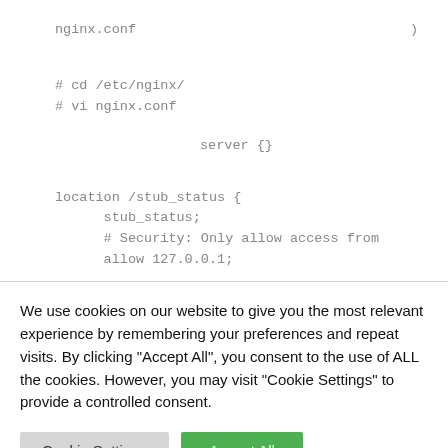nginx.conf				)
# cd /etc/nginx/
# vi nginx.conf
server {}
location /stub_status {
	stub_status;
	# Security: Only allow access from
	allow 127.0.0.1;
We use cookies on our website to give you the most relevant experience by remembering your preferences and repeat visits. By clicking “Accept All”, you consent to the use of ALL the cookies. However, you may visit "Cookie Settings" to provide a controlled consent.
Cookie Settings
Accept All